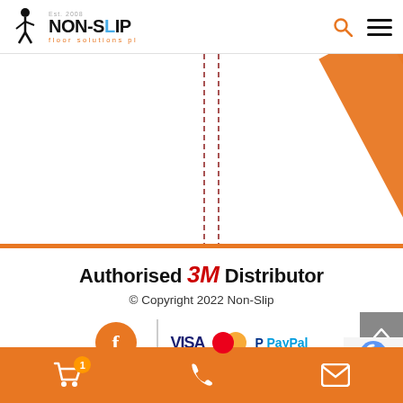[Figure (logo): Non-Slip floor solutions pl logo with orange text and figure icon, Est. 2008]
[Figure (illustration): White background with orange diagonal stripe on the right side and dashed red/brown vertical lines in the center, orange horizontal bar at the bottom]
Authorised 3M Distributor
© Copyright 2022 Non-Slip
[Figure (logo): Facebook orange circle icon, vertical divider, VISA logo, Mastercard overlapping circles, PayPal logo]
[Figure (logo): Partial reCAPTCHA icon visible at bottom right]
Shopping cart with badge 1, phone icon, email icon on orange bar